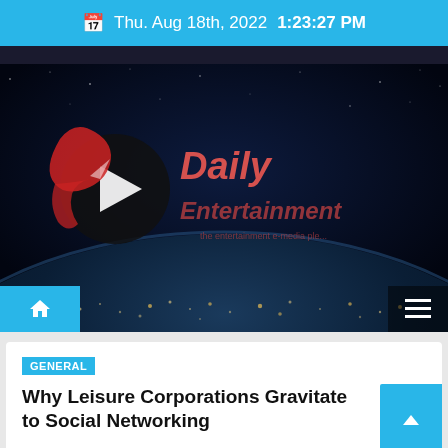Thu. Aug 18th, 2022  1:23:27 PM
[Figure (logo): Daily Entertainment website logo with play button icon on dark space/earth background]
GENERAL
Why Leisure Corporations Gravitate to Social Networking